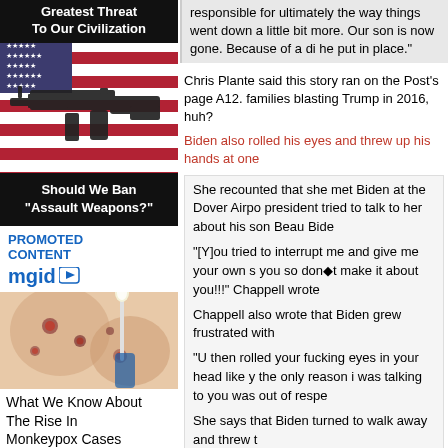Greatest Threat To Our Civilization
[Figure (photo): An assault rifle placed on top of an American flag]
Should We Ban "Assault Weapons?"
PROMOTED CONTENT
[Figure (logo): mgid logo]
[Figure (photo): Close-up photo of skin with monkeypox lesions and a cotton swab]
What We Know About The Rise In Monkeypox Cases
responsible for ultimately the way things went down a little bit more. Our son is now gone. Because of a di he put in place."
Chris Plante said this story ran on the Post's page A12. families blasting Trump in 2016, huh?
Biden also rolled his eyes and threw up his hands at one
She recounted that she met Biden at the Dover Airpo president tried to talk to her about his son Beau Bide
"[Y]ou tried to interrupt me and give me your own s you so don◆t make it about you!!!" Chappell wrote
Chappell also wrote that Biden grew frustrated with
"U then rolled your fucking eyes in your head like y the only reason i was talking to you was out of respe
She says that Biden turned to walk away and threw t
"U turned to walk away and i let you know my sons hand up behind you as you walked away from me li
By the way: Instagram suspended her account for sayin did they relent and restore it.